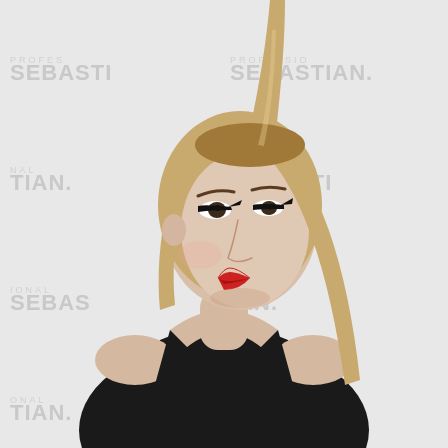[Figure (photo): A young woman with long blonde hair styled in a high ponytail, wearing a black sleeveless top, with red lipstick and winged eyeliner, posing in front of a white Sebastian Professional branded step-and-repeat backdrop. The backdrop shows the repeated text 'SEBASTIAN' and 'PROFESSIONAL' in dark gray letters.]